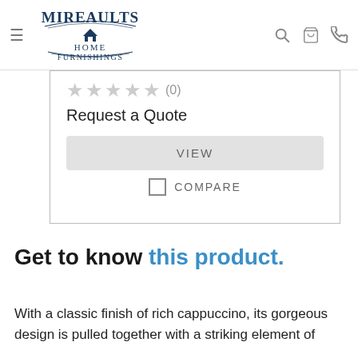[Figure (logo): Mireaults Home Furnishings logo with house icon]
★★★★★ (0)
Request a Quote
VIEW
☐ COMPARE
Get to know this product.
With a classic finish of rich cappuccino, its gorgeous design is pulled together with a striking element of